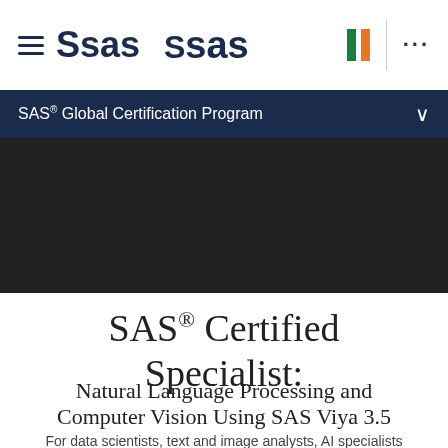[Figure (logo): SAS logo with hamburger menu icon on the left, flag bars (green and orange) and dots menu on the right]
SAS® Global Certification Program
[Figure (photo): Dark hero image background area]
SAS® Certified Specialist:
Natural Language Processing and Computer Vision Using SAS Viya 3.5
For data scientists, text and image analysts, AI specialists